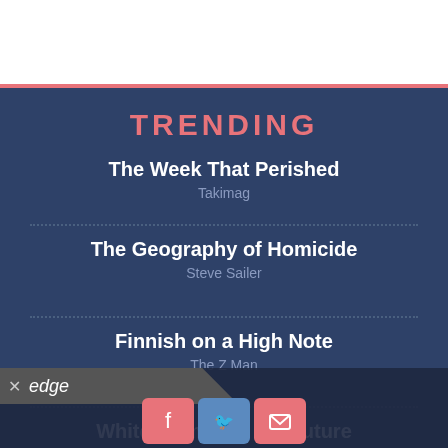TRENDING
The Week That Perished
Takimag
The Geography of Homicide
Steve Sailer
Finnish on a High Note
The Z Man
White Crimes of the Future